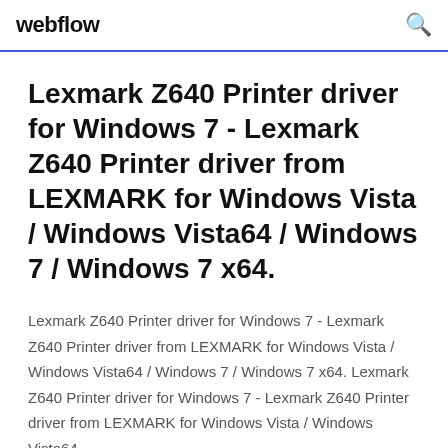webflow
Lexmark Z640 Printer driver for Windows 7 - Lexmark Z640 Printer driver from LEXMARK for Windows Vista / Windows Vista64 / Windows 7 / Windows 7 x64.
Lexmark Z640 Printer driver for Windows 7 - Lexmark Z640 Printer driver from LEXMARK for Windows Vista / Windows Vista64 / Windows 7 / Windows 7 x64. Lexmark Z640 Printer driver for Windows 7 - Lexmark Z640 Printer driver from LEXMARK for Windows Vista / Windows Vista64